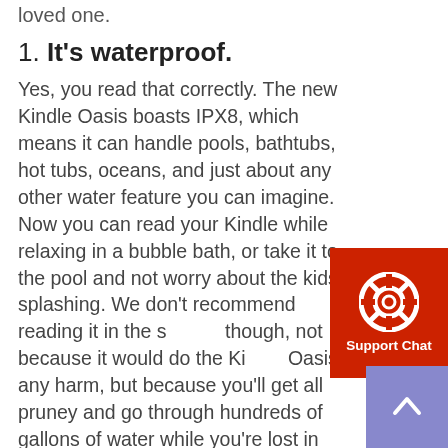loved one.
1. It's waterproof.
Yes, you read that correctly. The new Kindle Oasis boasts IPX8, which means it can handle pools, bathtubs, hot tubs, oceans, and just about any other water feature you can imagine. Now you can read your Kindle while relaxing in a bubble bath, or take it to the pool and not worry about the kids splashing. We don't recommend reading it in the shower though, not because it would do the Kindle Oasis any harm, but because you'll get all pruney and go through hundreds of gallons of water while you're lost in your book. Just saying.
[Figure (infographic): Red support chat button with life preserver icon and 'Support Chat' label]
[Figure (infographic): Purple scroll-to-top button with upward chevron arrow]
2. It plays Audible